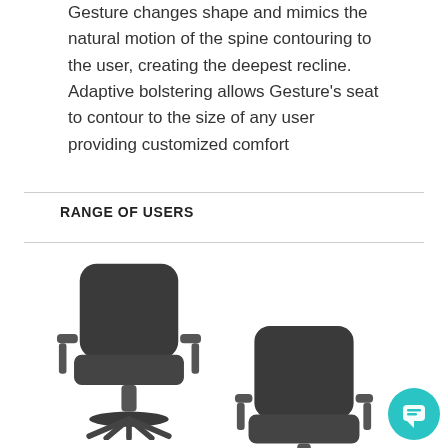Gesture changes shape and mimics the natural motion of the spine contouring to the user, creating the deepest recline. Adaptive bolstering allows Gesture's seat to contour to the size of any user providing customized comfort
RANGE OF USERS
[Figure (photo): Two ergonomic office chairs (Steelcase Gesture) shown from the front, side by side. Left chair is larger/wider, right chair is smaller. Both are dark grey/charcoal color with adjustable armrests.]
💬 Welcome to Red Thread!